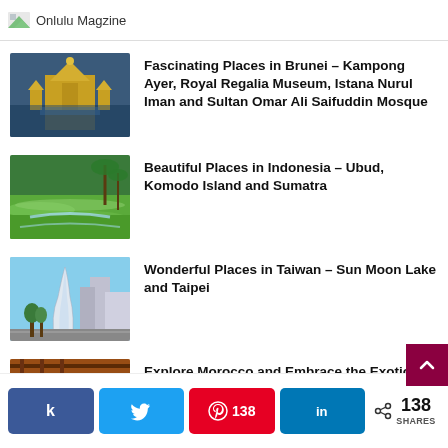Onlulu Magzine
Waterfall
Fascinating Places in Brunei – Kampong Ayer, Royal Regalia Museum, Istana Nurul Iman and Sultan Omar Ali Saifuddin Mosque
Beautiful Places in Indonesia – Ubud, Komodo Island and Sumatra
Wonderful Places in Taiwan – Sun Moon Lake and Taipei
Explore Morocco and Embrace the Exotic Beauty
[Figure (infographic): Social share bar with Facebook, Twitter, Pinterest (138), LinkedIn buttons and total 138 SHARES]